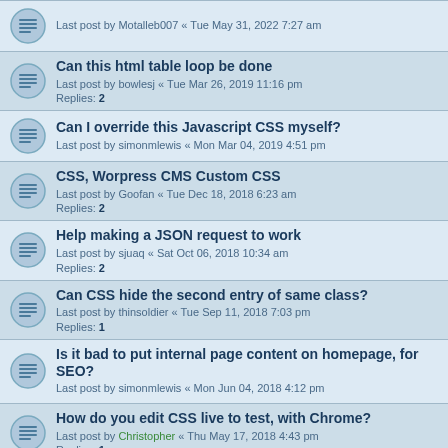Last post by Motalleb007 « Tue May 31, 2022 7:27 am
Can this html table loop be done
Last post by bowlesj « Tue Mar 26, 2019 11:16 pm
Replies: 2
Can I override this Javascript CSS myself?
Last post by simonmlewis « Mon Mar 04, 2019 4:51 pm
CSS, Worpress CMS Custom CSS
Last post by Goofan « Tue Dec 18, 2018 6:23 am
Replies: 2
Help making a JSON request to work
Last post by sjuaq « Sat Oct 06, 2018 10:34 am
Replies: 2
Can CSS hide the second entry of same class?
Last post by thinsoldier « Tue Sep 11, 2018 7:03 pm
Replies: 1
Is it bad to put internal page content on homepage, for SEO?
Last post by simonmlewis « Mon Jun 04, 2018 4:12 pm
How do you edit CSS live to test, with Chrome?
Last post by Christopher « Thu May 17, 2018 4:43 pm
Replies: 1
How do you check if other pages are swamped with keywords?
Last post by simonmlewis « Fri May 04, 2018 4:12 pm
making a table in wordpress work properly
Last post by Vegan « Sat Apr 21, 2018 1:45 pm